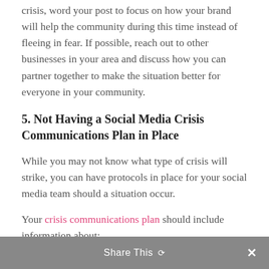crisis, word your post to focus on how your brand will help the community during this time instead of fleeing in fear. If possible, reach out to other businesses in your area and discuss how you can partner together to make the situation better for everyone in your community.
5. Not Having a Social Media Crisis Communications Plan in Place
While you may not know what type of crisis will strike, you can have protocols in place for your social media team should a situation occur.
Your crisis communications plan should include information about:
Brand standards
Copyright information
Share This ∨  ✕